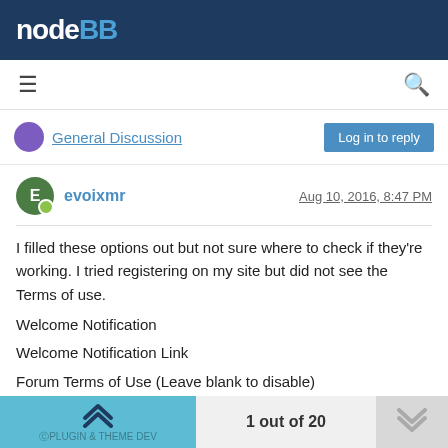NodeBB
General Discussion
evoixmr  Aug 10, 2016, 8:47 PM
I filled these options out but not sure where to check if they're working. I tried registering on my site but did not see the Terms of use.

Welcome Notification

Welcome Notification Link

Forum Terms of Use (Leave blank to disable)
1 out of 20